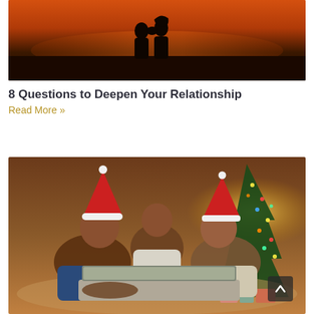[Figure (photo): Silhouette of a couple kissing against an orange sunset sky with dark horizon]
8 Questions to Deepen Your Relationship
Read More »
[Figure (photo): Family with Santa hats lying on the floor looking at a laptop together near a Christmas tree with gifts]